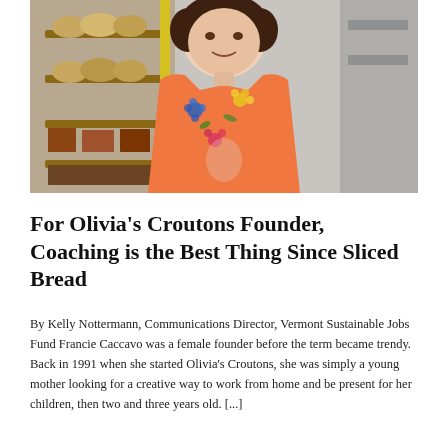[Figure (photo): A woman in an orange floral shirt stands in what appears to be a warehouse or storage facility with shelves of bread/products visible behind her. She has curly dark hair and is smiling slightly.]
For Olivia's Croutons Founder, Coaching is the Best Thing Since Sliced Bread
By Kelly Nottermann, Communications Director, Vermont Sustainable Jobs Fund Francie Caccavo was a female founder before the term became trendy. Back in 1991 when she started Olivia's Croutons, she was simply a young mother looking for a creative way to work from home and be present for her children, then two and three years old. [...]